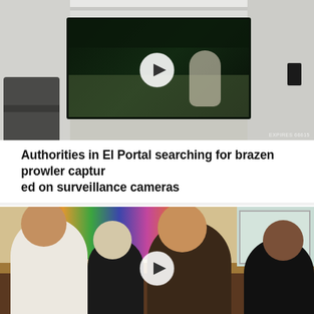[Figure (photo): Video thumbnail of indoor room with security camera footage shown on a wall-mounted screen, showing a person outside at night. Play button overlay in center.]
Authorities in El Portal searching for brazen prowler captured on surveillance cameras
[Figure (photo): Video thumbnail showing four people sitting together, appearing to be in conversation or laughing, with colorful tapestry in background. Play button overlay in center.]